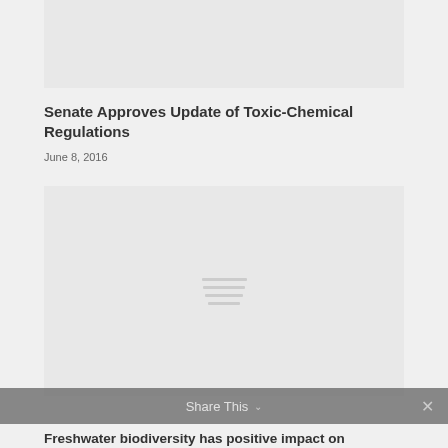[Figure (photo): Top image placeholder, light gray rectangle]
Senate Approves Update of Toxic-Chemical Regulations
June 8, 2016
[Figure (photo): Large image placeholder, light gray rectangle with hamburger menu icon in center]
Share This ×
Freshwater biodiversity has positive impact on